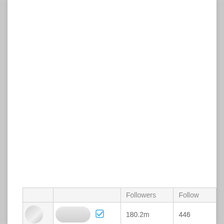[Figure (screenshot): White blank area occupying the upper three-quarters of the page, representing the top of a mobile app screenshot]
|  |  | Followers | Follow... |
| --- | --- | --- | --- |
| [avatar] | [pill + checkmark] | 180.2m | 446 |